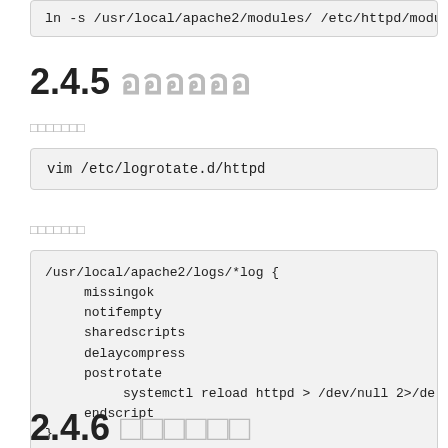[Figure (screenshot): Code snippet showing: ln -s /usr/local/apache2/modules/ /etc/httpd/mod (truncated)]
2.4.5 ??????
????????
[Figure (screenshot): Code snippet: vim /etc/logrotate.d/httpd]
????????
[Figure (screenshot): Code block: /usr/local/apache2/logs/*log {
    missingok
    notifempty
    sharedscripts
    delaycompress
    postrotate
        systemctl reload httpd > /dev/null 2>/dev/null || true
    endscript
}]
2.4.6 ??????